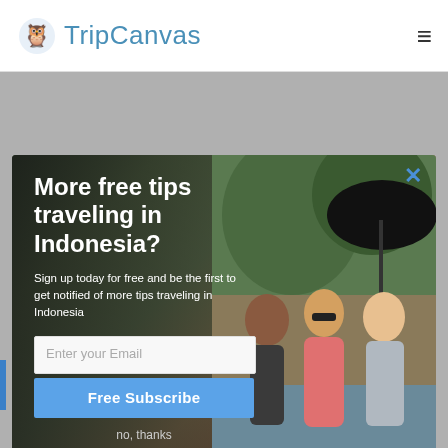TripCanvas
[Figure (screenshot): Modal popup overlay on a travel website. Background shows three young women posing together outdoors near water. Overlay has dark left panel with white text and form fields, and a close X button in the upper right.]
More free tips traveling in Indonesia?
Sign up today for free and be the first to get notified of more tips traveling in Indonesia
Enter your Email
Free Subscribe
no, thanks
POWERED BY SUMO